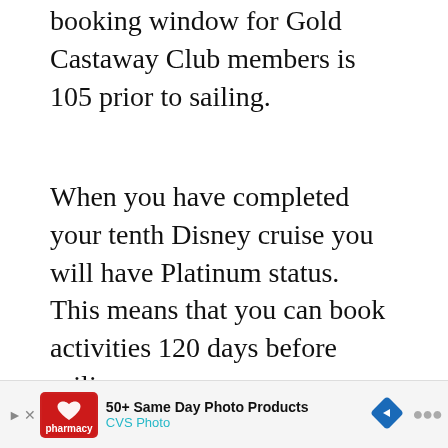booking window for Gold Castaway Club members is 105 prior to sailing.
When you have completed your tenth Disney cruise you will have Platinum status. This means that you can book activities 120 days before sailing.
Concierge Guests can also book 120 days before sailing.
[Figure (screenshot): Social media UI overlay with heart/like button showing teal circle with heart icon, count of 108, and share button]
[Figure (screenshot): 'WHAT'S NEXT' recommendation panel showing thumbnail of a cruise ship with text 'Disney Cruise Ship Stern...']
[Figure (photo): Aerial photograph showing what appears to be a landscape or terrain from above, brownish/gray tones]
[Figure (screenshot): Advertisement bar for CVS Photo: '50+ Same Day Photo Products' with CVS Pharmacy logo and navigation arrow]